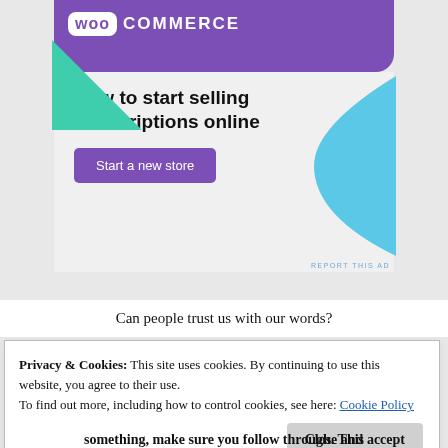[Figure (screenshot): WooCommerce advertisement banner with purple header showing WooCommerce logo, decorative green triangle and blue curved shape, headline 'How to start selling subscriptions online', and a purple 'Start a new store' button on a light grey background. 'REPORT THIS AD' text in small blue letters at bottom right.]
Can people trust us with our words?
Privacy & Cookies: This site uses cookies. By continuing to use this website, you agree to their use.
To find out more, including how to control cookies, see here: Cookie Policy
Close and accept
something, make sure you follow through. This